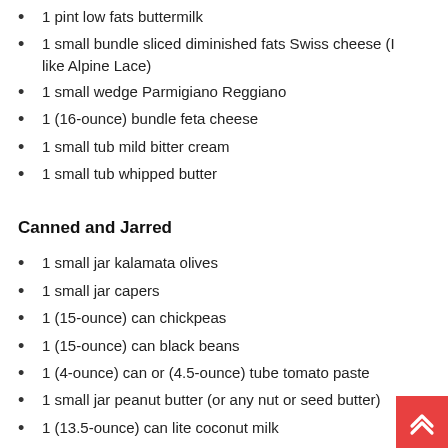1 pint low fats buttermilk
1 small bundle sliced diminished fats Swiss cheese (I like Alpine Lace)
1 small wedge Parmigiano Reggiano
1 (16-ounce) bundle feta cheese
1 small tub mild bitter cream
1 small tub whipped butter
Canned and Jarred
1 small jar kalamata olives
1 small jar capers
1 (15-ounce) can chickpeas
1 (15-ounce) can black beans
1 (4-ounce) can or (4.5-ounce) tube tomato paste
1 small jar peanut butter (or any nut or seed butter)
1 (13.5-ounce) can lite coconut milk